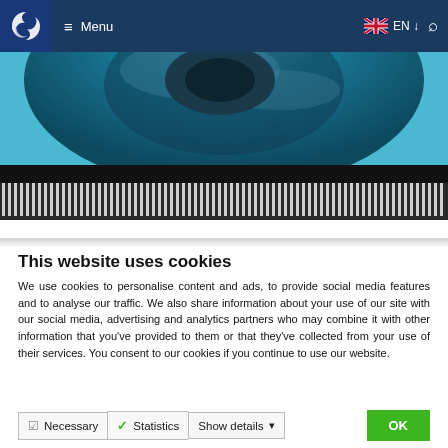Menu | EN | Search
[Figure (photo): Close-up of a blue circular pool or industrial wheel mechanism with metallic serrated edges, teal water/surface visible]
This website uses cookies
We use cookies to personalise content and ads, to provide social media features and to analyse our traffic. We also share information about your use of our site with our social media, advertising and analytics partners who may combine it with other information that you've provided to them or that they've collected from your use of their services. You consent to our cookies if you continue to use our website.
Necessary | Statistics | Show details | OK